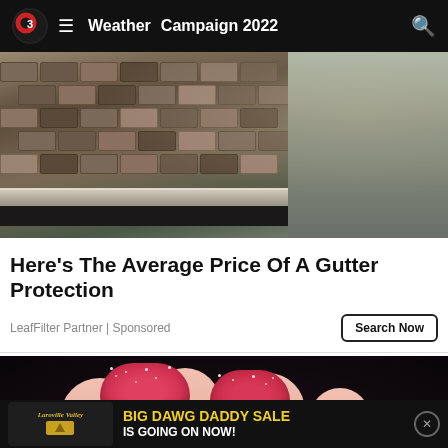Weather  Campaign 2022
[Figure (photo): Worker installing or cleaning gutters on a roof, wearing gloves and work gear, with shingles visible]
Here's The Average Price Of A Gutter Protection
LeafFilter Partner | Sponsored
[Figure (photo): Close-up of red sugar-coated gummy candies held in a hand against a dark background]
BIG DAWG DADDY SALE IS GOING ON NOW!